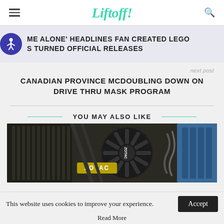Liftoff!
'ME ALONE' HEADLINES FAN CREATED LEGO S TURNED OFFICIAL RELEASES
next post
CANADIAN PROVINCE MCDOUBLING DOWN ON DRIVE THRU MASK PROGRAM
YOU MAY ALSO LIKE
[Figure (photo): Zotac graphics card close-up photo showing ZOTAC branding, fan, and blue shroud]
This website uses cookies to improve your experience.
Accept
Read More